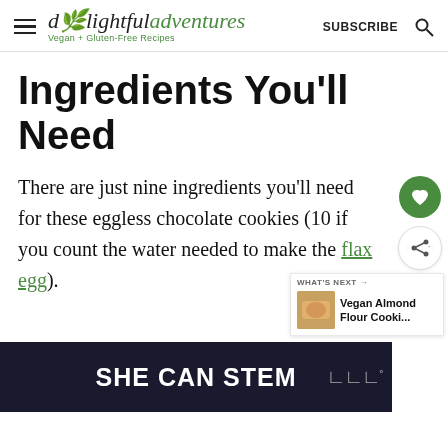delightful adventures — Vegan + Gluten-Free Recipes | SUBSCRIBE
Ingredients You'll Need
There are just nine ingredients you'll need for these eggless chocolate cookies (10 if you count the water needed to make the flax egg).
[Figure (screenshot): Sidebar with heart/favorite button (green circle) and share button (white circle with share icon)]
[Figure (screenshot): What's Next widget showing Vegan Almond Flour Cooki... with cookie thumbnail image]
[Figure (screenshot): Dark advertisement banner reading SHE CAN STEM with logo on right]